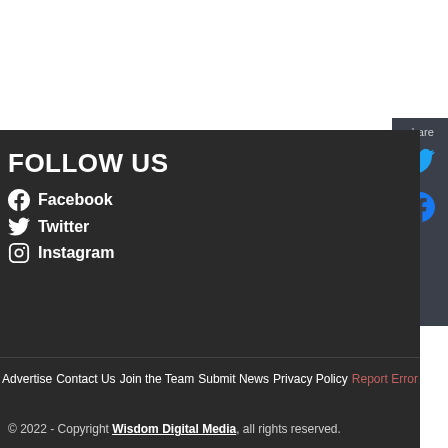FOLLOW US
Facebook
Twitter
Instagram
Advertise   Contact Us   Join the Team   Submit News   Privacy Policy   Report Error
© 2022 - Copyright Wisdom Digital Media, all rights reserved.